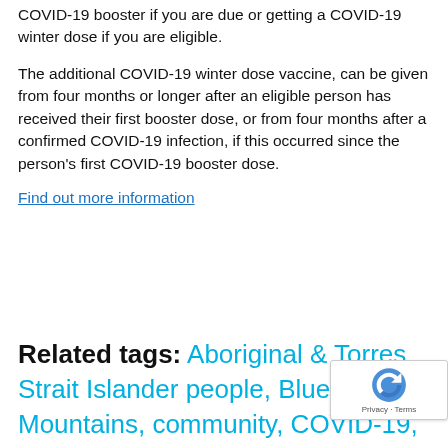COVID-19 booster if you are due or getting a COVID-19 winter dose if you are eligible.
The additional COVID-19 winter dose vaccine, can be given from four months or longer after an eligible person has received their first booster dose, or from four months after a confirmed COVID-19 infection, if this occurred since the person's first COVID-19 booster dose.
Find out more information
Related tags: Aboriginal & Torres Strait Islander people, Blue Mountains, community, COVID-19, disability support, Flu, Hawkesbury, Immunisation, Lithgow, o... people, Penrith